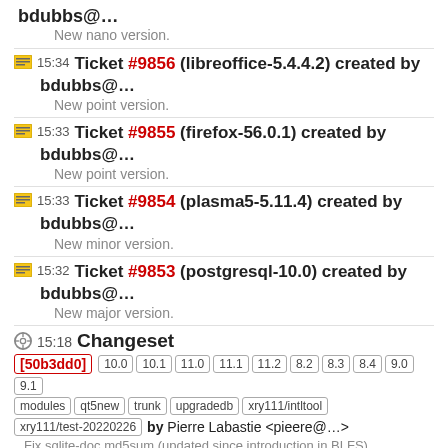bdubbs@…
New nano version.
15:34 Ticket #9856 (libreoffice-5.4.4.2) created by bdubbs@…
New point version.
15:33 Ticket #9855 (firefox-56.0.1) created by bdubbs@…
New point version.
15:33 Ticket #9854 (plasma5-5.11.4) created by bdubbs@…
New minor version.
15:32 Ticket #9853 (postgresql-10.0) created by bdubbs@…
New major version.
15:18 Changeset [50b3dd0] 10.0 10.1 11.0 11.1 11.2 8.2 8.3 8.4 9.0 9.1 modules qt5new trunk upgradedb xry111/intltool xry111/test-20220226 by Pierre Labastie <pieere@…>
Fix sqlite-doc md5sum (updated since introduction in BLFS)